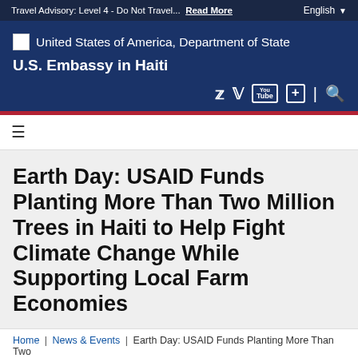Travel Advisory: Level 4 - Do Not Travel... Read More | English
[Figure (screenshot): U.S. Embassy in Haiti website header — dark navy banner with 'United States of America, Department of State' logo text, 'U.S. Embassy in Haiti' title, social media icons (Twitter, Facebook, YouTube, plus, search), red accent bar, and hamburger menu.]
Earth Day: USAID Funds Planting More Than Two Million Trees in Haiti to Help Fight Climate Change While Supporting Local Farm Economies
Home | News & Events | Earth Day: USAID Funds Planting More Than Two